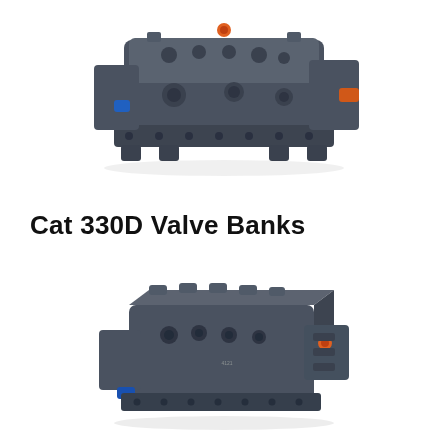[Figure (photo): Cat 330D hydraulic valve bank assembly, top view. Dark grey/gunmetal metal casting with multiple ports, fittings, orange and blue accent caps/plugs visible on top and sides. Complex multi-valve manifold block.]
Cat 330D Valve Banks
[Figure (photo): Cat 330D hydraulic valve bank assembly, angled front-right view. Dark grey metal casting with multiple cylindrical valve spools, ports, and fittings. Orange fitting visible on right side, blue plug at bottom. Slightly smaller and differently oriented than top image.]